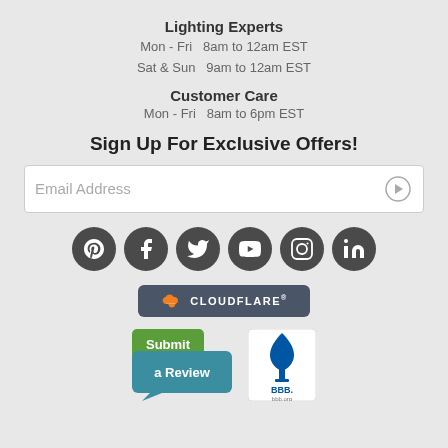Lighting Experts
Mon - Fri  8am to 12am EST
Sat & Sun  9am to 12am EST
Customer Care
Mon - Fri  8am to 6pm EST
Sign Up For Exclusive Offers!
[Figure (other): Email address input field with submit arrow button]
[Figure (other): Social media icons row: Pinterest, Facebook, Twitter, YouTube, Instagram, LinkedIn]
[Figure (logo): Cloudflare badge/logo on dark background]
[Figure (other): Submit a Review badge and BBB (Better Business Bureau) logo]